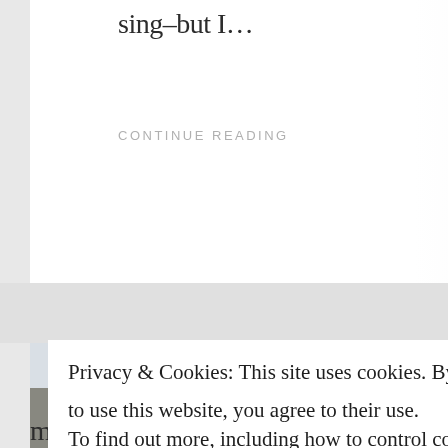sing–but I…
CONTINUE READING
Privacy & Cookies: This site uses cookies. By continuing to use this website, you agree to their use. To find out more, including how to control cookies, see here: Cookie Policy
CLOSE AND ACCEPT
me. Deeper into God's heart